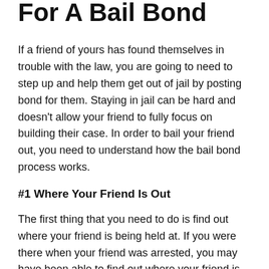For A Bail Bond
If a friend of yours has found themselves in trouble with the law, you are going to need to step up and help them get out of jail by posting bond for them. Staying in jail can be hard and doesn't allow your friend to fully focus on building their case. In order to bail your friend out, you need to understand how the bail bond process works.
#1 Where Your Friend Is Out
The first thing that you need to do is find out where your friend is being held at. If you were there when your friend was arrested, you may have been able to find out where your friend is being held. If your friend was arrested in a small town, it may be easy to find where they are being held. In a large city though, you are going